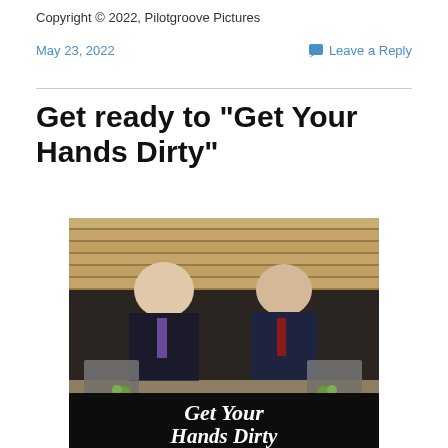Copyright © 2022, Pilotgroove Pictures
May 23, 2022
Leave a Reply
Get ready to “Get Your Hands Dirty”
[Figure (photo): Two men in suits sitting behind a table with a black tablecloth reading 'Get Your Hands Dirty', in front of wooden bleachers. Both are wearing headsets. There are laptops and papers on the table.]